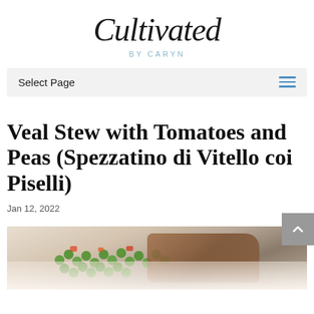Cultivated
BY CARYN
Select Page
Veal Stew with Tomatoes and Peas (Spezzatino di Vitello coi Piselli)
Jan 12, 2022
[Figure (photo): Photo of veal stew with tomatoes and peas in a white dish, showing green peas and braised meat pieces]